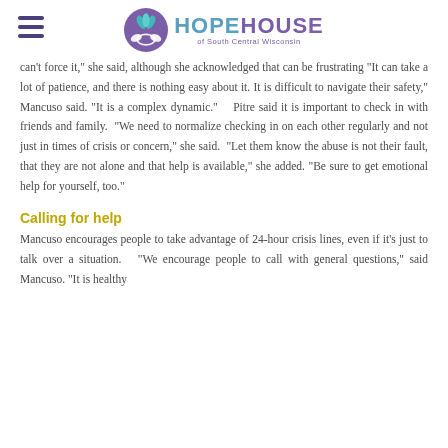Hope House of South Central Wisconsin
can't force it," she said, although she acknowledged that can be frustrating "It can take a lot of patience, and there is nothing easy about it. It is difficult to navigate their safety," Mancuso said. "It is a complex dynamic."   Pitre said it is important to check in with friends and family.  "We need to normalize checking in on each other regularly and not just in times of crisis or concern," she said.  "Let them know the abuse is not their fault, that they are not alone and that help is available," she added. "Be sure to get emotional help for yourself, too."
Calling for help
Mancuso encourages people to take advantage of 24-hour crisis lines, even if it's just to talk over a situation.  "We encourage people to call with general questions," said Mancuso. "It is healthy